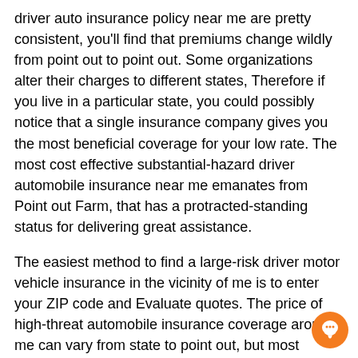driver auto insurance policy near me are pretty consistent, you'll find that premiums change wildly from point out to point out. Some organizations alter their charges to different states, Therefore if you live in a particular state, you could possibly notice that a single insurance company gives you the most beneficial coverage for your low rate. The most cost effective substantial-hazard driver automobile insurance near me emanates from Point out Farm, that has a protracted-standing status for delivering great assistance.
The easiest method to find a large-risk driver motor vehicle insurance in the vicinity of me is to enter your ZIP code and Evaluate quotes. The price of high-threat automobile insurance coverage around me can vary from state to point out, but most significant insurers give such protection. Some of these corporations specialize in superior-risk coverage, including Nationwide Standard. You could possibly even be able to find a less expensive policy if you have superior grades in addition to a minimal-chance vehicle.